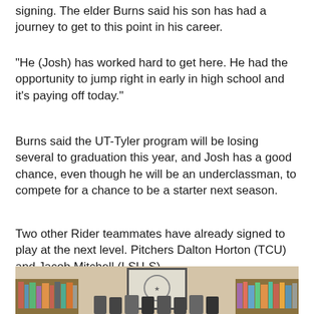signing. The elder Burns said his son has had a journey to get to this point in his career.
"He (Josh) has worked hard to get here. He had the opportunity to jump right in early in high school and it's paying off today."
Burns said the UT-Tyler program will be losing several to graduation this year, and Josh has a good chance, even though he will be an underclassman, to compete for a chance to be a starter next season.
Two other Rider teammates have already signed to play at the next level. Pitchers Dalton Horton (TCU) and Jacob Mitchell (LSU-S).
[Figure (photo): A group photo taken indoors showing several people seated/standing in front of a large monitor/screen displaying a seal or logo, with bookshelves visible on the left and right sides of the room.]